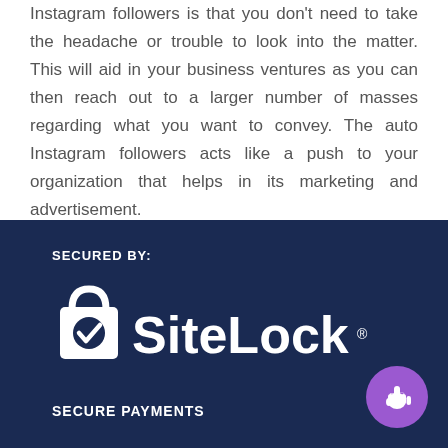Instagram followers is that you don't need to take the headache or trouble to look into the matter. This will aid in your business ventures as you can then reach out to a larger number of masses regarding what you want to convey. The auto Instagram followers acts like a push to your organization that helps in its marketing and advertisement.
SECURED BY:
[Figure (logo): SiteLock logo — white shopping bag icon with checkmark, followed by 'SiteLock.' text in white on dark navy background]
SECURE PAYMENTS